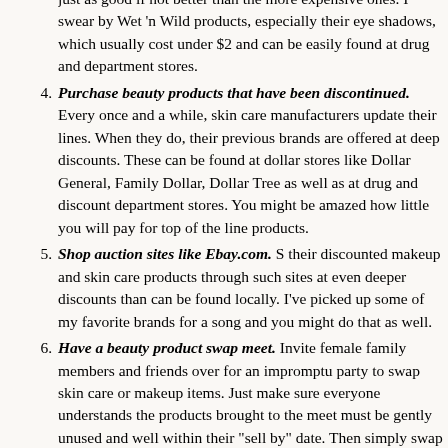just as good if not better than the more expensive ones. I swear by Wet 'n Wild products, especially their eye shadows, which usually cost under $2 and can be easily found at drug and department stores.
4. Purchase beauty products that have been discontinued. Every once and a while, skin care manufacturers update their lines. When they do, their previous brands are offered at deep discounts. These can be found at dollar stores like Dollar General, Family Dollar, Dollar Tree as well as at drug and discount department stores. You might be amazed how little you will pay for top of the line products.
5. Shop auction sites like Ebay.com. S their discounted makeup and skin care products through such sites at even deeper discounts than can be found locally. I've picked up some of my favorite brands for a song and you might do that as well.
6. Have a beauty product swap meet. Invite female family members and friends over for an impromptu party to swap skin care or makeup items. Just make sure everyone understands the products brought to the meet must be gently unused and well within their "sell by" date. Then simply swap among the products brought, taking items you need the most; one item for each item you brought to the meet.
7. Save coupons for beauty products.